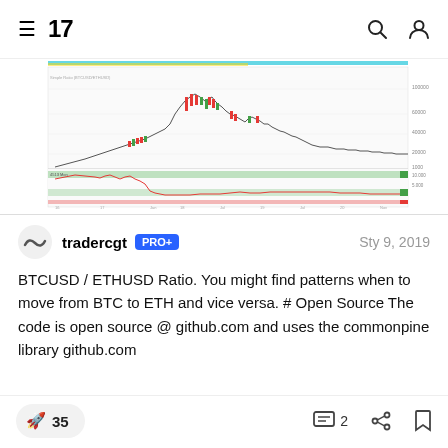TradingView navigation header with logo, search and user icons
[Figure (continuous-plot): BTCUSD/ETHUSD ratio candlestick chart showing price history with green and red candles, support/resistance horizontal bands in green and red, spanning roughly 2017-2019]
tradercgt PRO+ Sty 9, 2019
BTCUSD / ETHUSD Ratio. You might find patterns when to move from BTC to ETH and vice versa. # Open Source The code is open source @ github.com and uses the commonpine library github.com
35  2